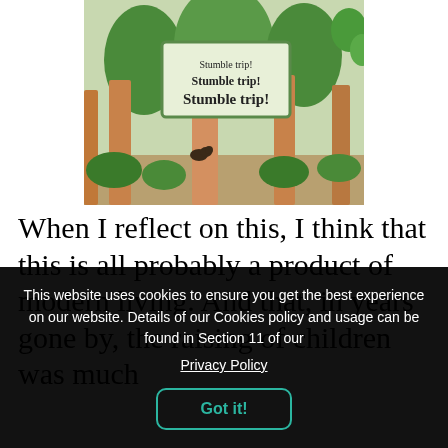[Figure (illustration): A children's book illustration showing a forest scene with large tree trunks. A sign in the upper-center area reads 'Stumble trip! Stumble trip! Stumble trip!' in increasing font sizes. A small animal (appears to be a bear or raccoon) is visible at the base of the trees. The forest floor shows brown/tan ground and green foliage.]
When I reflect on this, I think that this is all probably a product of modern living. And that, in years gone by, the raising of children was much
This website uses cookies to ensure you get the best experience on our website. Details of our Cookies policy and usage can be found in Section 11 of our
Privacy Policy
Got it!